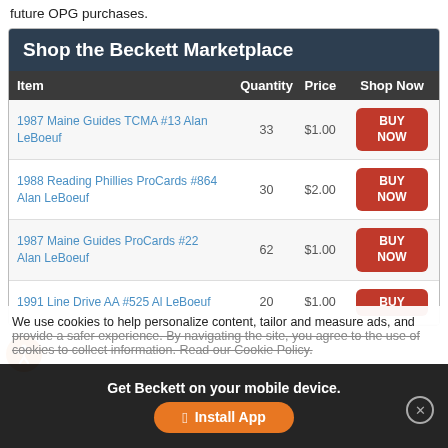future OPG purchases.
Shop the Beckett Marketplace
| Item | Quantity | Price | Shop Now |
| --- | --- | --- | --- |
| 1987 Maine Guides TCMA #13 Alan LeBoeuf | 33 | $1.00 | BUY NOW |
| 1988 Reading Phillies ProCards #864 Alan LeBoeuf | 30 | $2.00 | BUY NOW |
| 1987 Maine Guides ProCards #22 Alan LeBoeuf | 62 | $1.00 | BUY NOW |
| 1991 Line Drive AA #525 Al LeBoeuf | 20 | $1.00 | BUY |
We use cookies to help personalize content, tailor and measure ads, and provide a safer experience. By navigating the site, you agree to the use of cookies to collect information. Read our Cookie Policy.
Get Beckett on your mobile device.
Install App